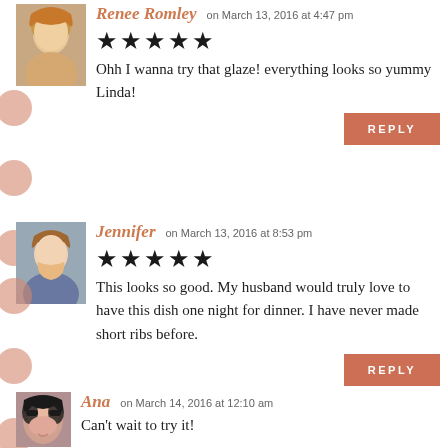Renee Romley on March 13, 2016 at 4:47 pm
★★★★★
Ohh I wanna try that glaze! everything looks so yummy Linda!
REPLY
Jennifer on March 13, 2016 at 8:53 pm
★★★★★
This looks so good. My husband would truly love to have this dish one night for dinner. I have never made short ribs before.
REPLY
Ana on March 14, 2016 at 12:10 am
Can't wait to try it!